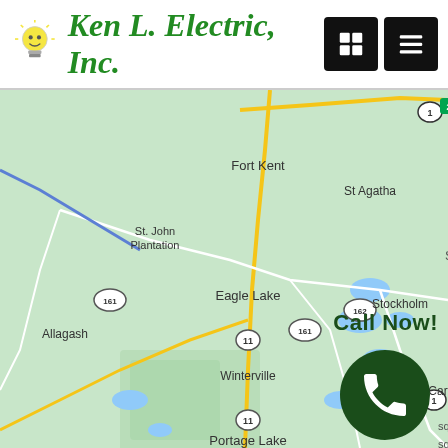Ken L. Electric, Inc.
[Figure (map): Google Maps screenshot showing northern Maine area with towns including Fort Kent, St. Agatha, St. John Plantation, Allagash, Eagle Lake, Stockholm, Winterville, Portage Lake, and Ashland. Roads including routes 1, 2, 11, 161, and 162 are visible. Water bodies (lakes) shown in blue on a green terrain background.]
Call Now!